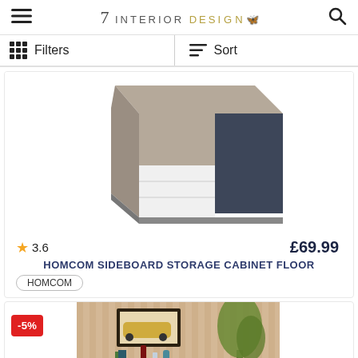7 INTERIOR DESIGN
Filters | Sort
[Figure (photo): A modern sideboard storage cabinet with grey/taupe top, white and dark navy/charcoal door panels, floating perspective view on white background]
★ 3.6   £69.99
HOMCOM SIDEBOARD STORAGE CABINET FLOOR
HOMCOM
[Figure (photo): A white sideboard/bar cabinet with LED lighting at base, shown in room with striped wallpaper, a plant, wine bottle and art print. Has a -5% discount badge.]